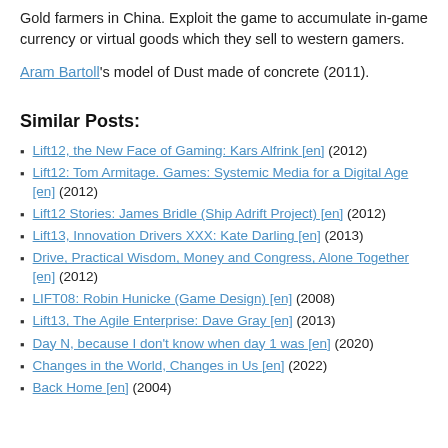Gold farmers in China. Exploit the game to accumulate in-game currency or virtual goods which they sell to western gamers.
Aram Bartoll's model of Dust made of concrete (2011).
Similar Posts:
Lift12, the New Face of Gaming: Kars Alfrink [en] (2012)
Lift12: Tom Armitage. Games: Systemic Media for a Digital Age [en] (2012)
Lift12 Stories: James Bridle (Ship Adrift Project) [en] (2012)
Lift13, Innovation Drivers XXX: Kate Darling [en] (2013)
Drive, Practical Wisdom, Money and Congress, Alone Together [en] (2012)
LIFT08: Robin Hunicke (Game Design) [en] (2008)
Lift13, The Agile Enterprise: Dave Gray [en] (2013)
Day N, because I don't know when day 1 was [en] (2020)
Changes in the World, Changes in Us [en] (2022)
Back Home [en] (2004)